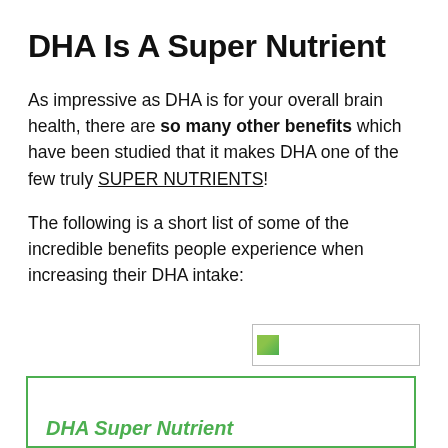DHA Is A Super Nutrient
As impressive as DHA is for your overall brain health, there are so many other benefits which have been studied that it makes DHA one of the few truly SUPER NUTRIENTS!
The following is a short list of some of the incredible benefits people experience when increasing their DHA intake:
[Figure (other): Partially visible image placeholder with broken image icon, green border box at bottom with italic green text reading 'DHA Super Nutrient']